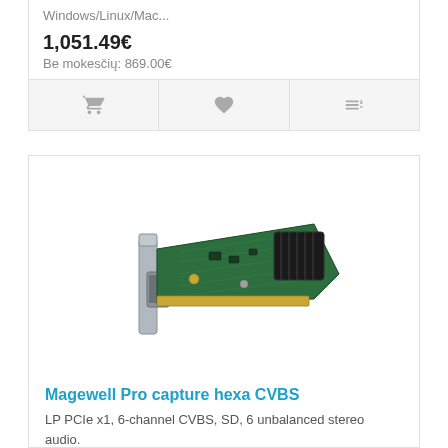Windows/Linux/Mac...
1,051.49€
Be mokesčių: 869.00€
[Figure (other): Product card action buttons: cart, wishlist, compare icons on grey background]
[Figure (photo): Magewell Pro capture hexa CVBS PCIe card — green circuit board with silver bracket and DB connector]
Magewell Pro capture hexa CVBS
LP PCIe x1, 6-channel CVBS, SD, 6 unbalanced stereo audio. Windows/Linux/Mac..